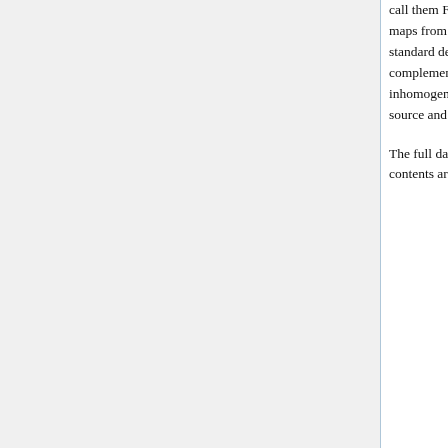call them FIRST and LAST y-maps. Additionally we construct a noise estimates of full mission Planck y-maps from the half difference of the FIRST and LAST y-maps. These estimates are used to construct standard deviation maps of the noise in the full mission Planck y-maps that are also provided. To complement this we also provide the power spectra of the noise estimate maps after correcting for inhomogeneities using the standard deviation maps. We also deliver foreground masks including point-source and galactic masks.
The full data set is contained in a single gzipped tarball named COM_CompMap_YSZ_R2.00.fits.tgz. Its contents are described below.